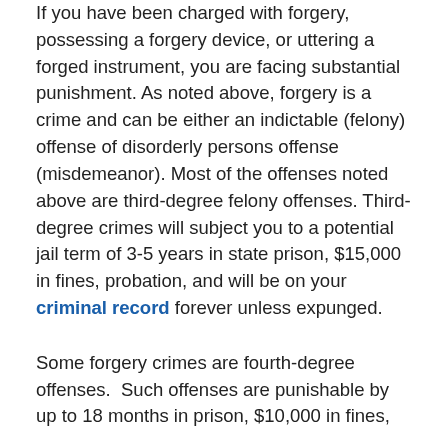If you have been charged with forgery, possessing a forgery device, or uttering a forged instrument, you are facing substantial punishment. As noted above, forgery is a crime and can be either an indictable (felony) offense of disorderly persons offense (misdemeanor). Most of the offenses noted above are third-degree felony offenses. Third-degree crimes will subject you to a potential jail term of 3-5 years in state prison, $15,000 in fines, probation, and will be on your criminal record forever unless expunged.
Some forgery crimes are fourth-degree offenses.  Such offenses are punishable by up to 18 months in prison, $10,000 in fines,